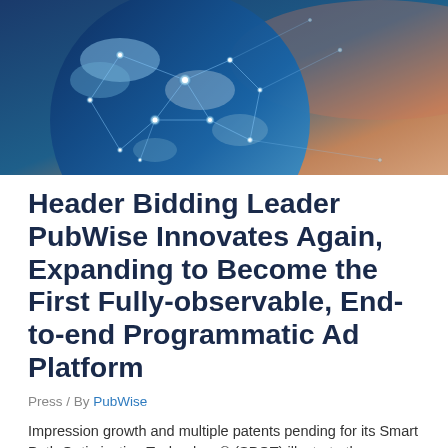[Figure (illustration): Digital globe with network connection lines and glowing nodes against a blue and orange gradient sky background, representing global connectivity.]
Header Bidding Leader PubWise Innovates Again, Expanding to Become the First Fully-observable, End-to-end Programmatic Ad Platform
Press / By PubWise
Impression growth and multiple patents pending for its Smart Path Optimization Technology® (SPOT) illustrate the company's call for